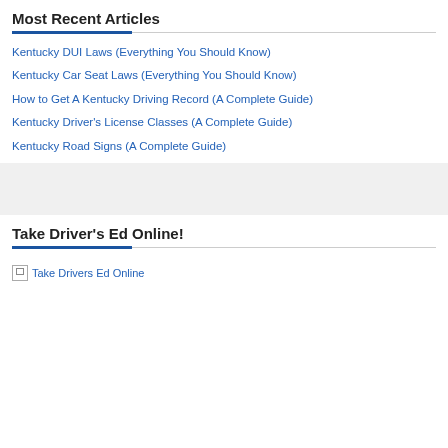Most Recent Articles
Kentucky DUI Laws (Everything You Should Know)
Kentucky Car Seat Laws (Everything You Should Know)
How to Get A Kentucky Driving Record (A Complete Guide)
Kentucky Driver's License Classes (A Complete Guide)
Kentucky Road Signs (A Complete Guide)
Take Driver's Ed Online!
[Figure (other): Broken image placeholder labeled 'Take Drivers Ed Online']